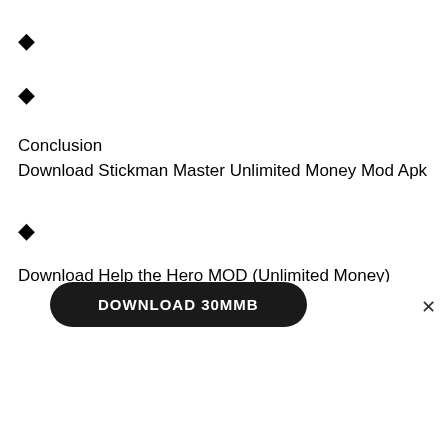◆
◆
Conclusion
Download Stickman Master Unlimited Money Mod Apk
◆
Download Help the Hero MOD (Unlimited Money) v2.28.1
(MOD, Unlocked All Pack/No Watermark)
[Figure (other): Download button showing 'DOWNLOAD 30MMB' in dark rounded rectangle, with an X close button to the right]